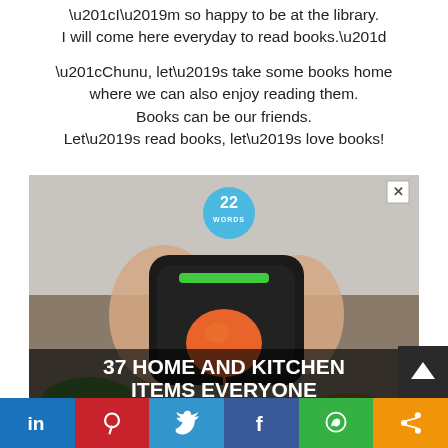“I’m so happy to be at the library. I will come here everyday to read books.”
“Chunu, let’s take some books home where we can also enjoy reading them. Books can be our friends. Let’s read books, let’s love books!
[Figure (photo): Advertisement image showing hands holding a kitchen gadget/juicer pressing a tomato, with text overlay: 37 HOME AND KITCHEN ITEMS EVERYONE SHOULD OWN. Has a circular 22 Words badge and a close X button.]
Social share bar: LinkedIn, Pinterest, Twitter, Facebook, WhatsApp, Share